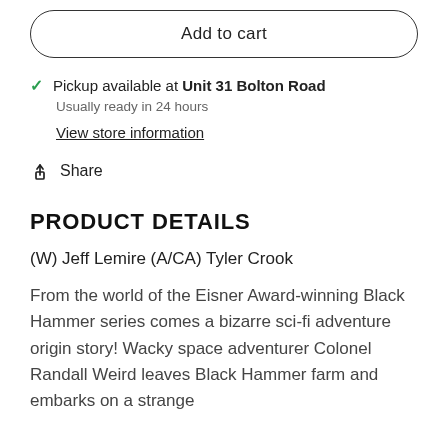Add to cart
Pickup available at Unit 31 Bolton Road
Usually ready in 24 hours
View store information
Share
PRODUCT DETAILS
(W) Jeff Lemire (A/CA) Tyler Crook
From the world of the Eisner Award-winning Black Hammer series comes a bizarre sci-fi adventure origin story! Wacky space adventurer Colonel Randall Weird leaves Black Hammer farm and embarks on a strange